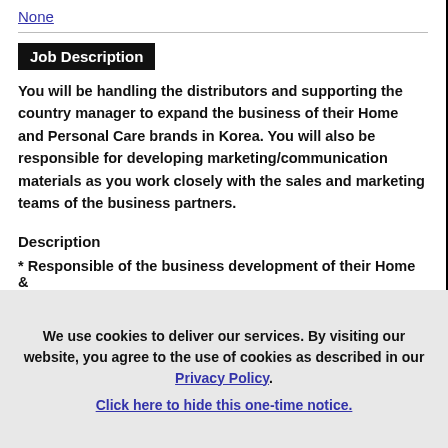None
Job Description
You will be handling the distributors and supporting the country manager to expand the business of their Home and Personal Care brands in Korea. You will also be responsible for developing marketing/communication materials as you work closely with the sales and marketing teams of the business partners.
Description
* Responsible of the business development of their Home &
We use cookies to deliver our services. By visiting our website, you agree to the use of cookies as described in our Privacy Policy. Click here to hide this one-time notice.